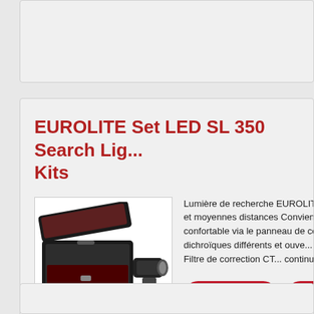EUROLITE Set LED SL 350 Search Light Kits
[Figure (photo): Product photo showing a black flight case with wheels open, and a searchlight fixture next to it]
Lumière de recherche EUROLITE LED SL 350 Sp... les petites et moyennes distances Convient une z... mètres, Contrôle confortable via le panneau de co... couleurs 5 filtres de dichroïques différents et ouve... réglable (1 20 flashes sec.), Filtre de correction CT... continu de 5 à
1749EUR
Détails / Commande